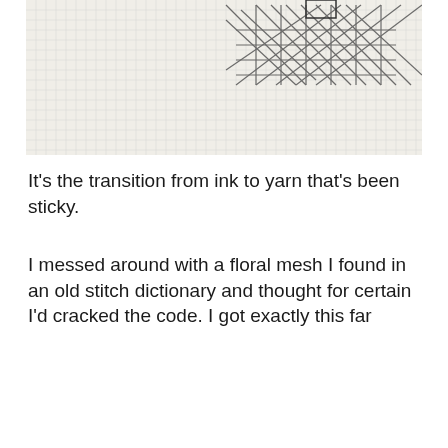[Figure (photo): A pencil sketch on graph paper showing a floral mesh or crosshatch pattern with diagonal hatching lines, partially visible at the top of the page.]
It's the transition from ink to yarn that's been sticky.
I messed around with a floral mesh I found in an old stitch dictionary and thought for certain I'd cracked the code. I got exactly this far